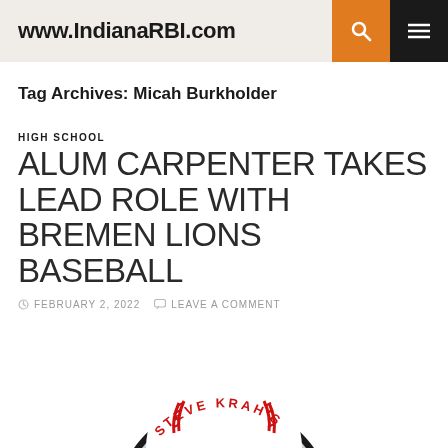www.IndianaRBI.com
Tag Archives: Micah Burkholder
HIGH SCHOOL
ALUM CARPENTER TAKES LEAD ROLE WITH BREMEN LIONS BASEBALL
FEBRUARY 2, 2022  LEAVE A COMMENT
[Figure (logo): Steve Krah's Indiana RBI baseball logo — circular logo with baseball stitching design in red, black, and white with text 'STEVE KRAH'S' along the top arc]